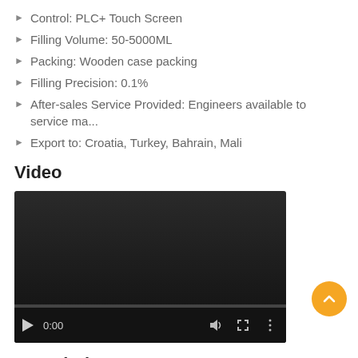Control: PLC+ Touch Screen
Filling Volume: 50-5000ML
Packing: Wooden case packing
Filling Precision: 0.1%
After-sales Service Provided: Engineers available to service ma...
Export to: Croatia, Turkey, Bahrain, Mali
Video
[Figure (screenshot): Embedded video player showing a dark/black thumbnail with playback controls: play button, time display 0:00, volume icon, fullscreen icon, options icon, and a progress bar at the bottom.]
Description
Our customers can avail auto hand soap/liquid soap filling machine with ce iso from us. The offered range of auto hand soap/liquid soap filling machine with ce